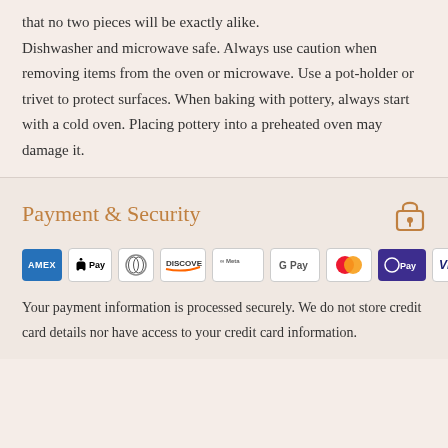that no two pieces will be exactly alike.
Dishwasher and microwave safe. Always use caution when removing items from the oven or microwave. Use a pot-holder or trivet to protect surfaces. When baking with pottery, always start with a cold oven. Placing pottery into a preheated oven may damage it.
Payment & Security
[Figure (logo): Payment method logos: American Express, Apple Pay, Diners Club, Discover, Meta Pay, Google Pay, Mastercard, O Pay, Visa]
Your payment information is processed securely. We do not store credit card details nor have access to your credit card information.